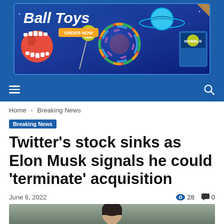[Figure (infographic): Ball Toys advertisement banner with colorful toy balls and ORDER NOW button on blue background]
Navigation bar with hamburger menu and search icon
Home › Breaking News
Breaking News
Twitter's stock sinks as Elon Musk signals he could 'terminate' acquisition
June 6, 2022  👁 28  💬 0
[Figure (photo): Photo of a person, partially visible, showing top of head]